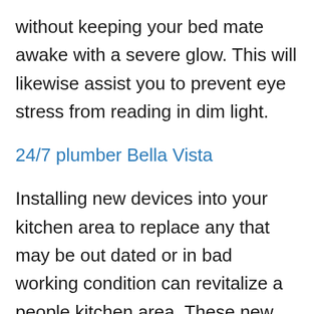without keeping your bed mate awake with a severe glow. This will likewise assist you to prevent eye stress from reading in dim light.
24/7 plumber Bella Vista
Installing new devices into your kitchen area to replace any that may be out dated or in bad working condition can revitalize a people kitchen area. These new devices can be picked to make the most of any element of the kitchen area. Whether they have new